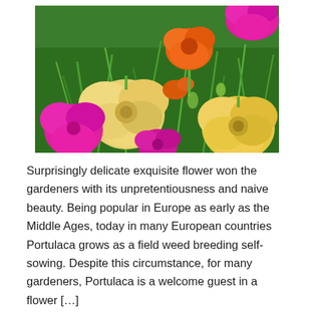[Figure (photo): Close-up photo of colorful Portulaca flowers (moss rose) in bloom, showing yellow, orange, and magenta/pink double-petaled flowers among green needle-like foliage.]
Surprisingly delicate exquisite flower won the gardeners with its unpretentiousness and naive beauty. Being popular in Europe as early as the Middle Ages, today in many European countries Portulaca grows as a field weed breeding self-sowing. Despite this circumstance, for many gardeners, Portulaca is a welcome guest in a flower […]